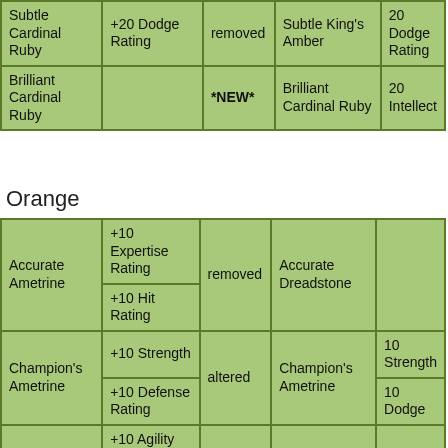| Item | Old Bonus | Status | New Item | New Bonus |
| --- | --- | --- | --- | --- |
| Subtle Cardinal Ruby | +20 Dodge Rating | removed | Subtle King's Amber | 20 Dodge Rating |
| Brilliant Cardinal Ruby |  | *NEW* | Brilliant Cardinal Ruby | 20 Intellect |
Orange
| Item | Old Bonus | Status | New Item | New Bonus |
| --- | --- | --- | --- | --- |
| Accurate Ametrine | +10 Expertise Rating
+10 Hit Rating | removed | Accurate Dreadstone |  |
| Champion's Ametrine | +10 Strength
+10 Defense Rating | altered | Champion's Ametrine | 10 Strength
10 Dodge |
| (partial) | +10 Agility
+10 |  | (partial) |  |